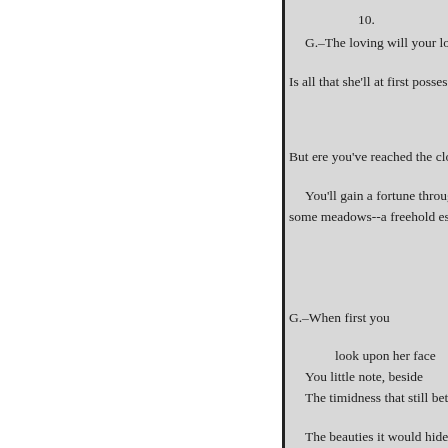10.
G.–The loving will your lot
Is all that she'll at first possess
But ere you've reached the clo
You'll gain a fortune through y
some meadows--a freehold estate
G.–When first you
look upon her face
You little note, beside
The timidness that still betra
The beauties it would hide
But one by one they look o